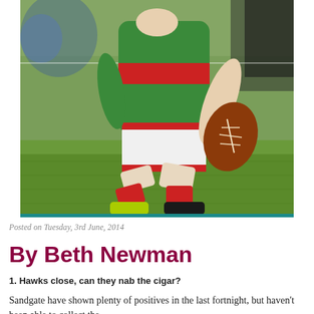[Figure (photo): An Australian rules football player in a green, red, and white jersey and white shorts, carrying a red football. The player is running on a grass field. Yellow-green cleats on one foot, black cleats on the other. Background shows spectators and a fence.]
Posted on Tuesday, 3rd June, 2014
By Beth Newman
1. Hawks close, can they nab the cigar?
Sandgate have shown plenty of positives in the last fortnight, but haven't been able to collect the